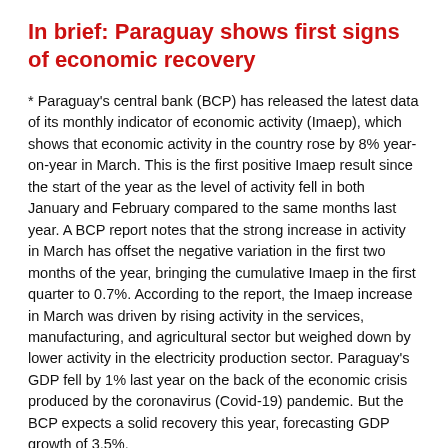In brief: Paraguay shows first signs of economic recovery
* Paraguay's central bank (BCP) has released the latest data of its monthly indicator of economic activity (Imaep), which shows that economic activity in the country rose by 8% year-on-year in March. This is the first positive Imaep result since the start of the year as the level of activity fell in both January and February compared to the same months last year. A BCP report notes that the strong increase in activity in March has offset the negative variation in the first two months of the year, bringing the cumulative Imaep in the first quarter to 0.7%. According to the report, the Imaep increase in March was driven by rising activity in the services, manufacturing, and agricultural sector but weighed down by lower activity in the electricity production sector. Paraguay's GDP fell by 1% last year on the back of the economic crisis produced by the coronavirus (Covid-19) pandemic. But the BCP expects a solid recovery this year, forecasting GDP growth of 3.5%.
End of preview. This article contains approximately